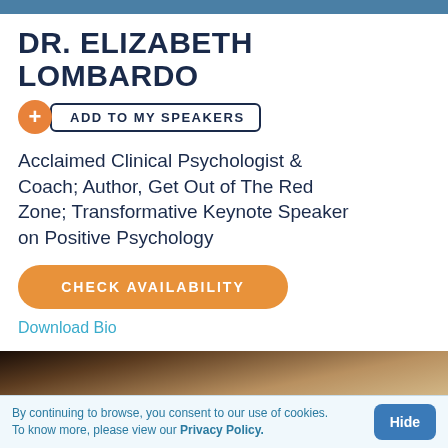DR. ELIZABETH LOMBARDO
+ ADD TO MY SPEAKERS
Acclaimed Clinical Psychologist & Coach; Author, Get Out of The Red Zone; Transformative Keynote Speaker on Positive Psychology
CHECK AVAILABILITY
Download Bio
[Figure (photo): Partial photo of Dr. Elizabeth Lombardo, woman with blonde hair]
By continuing to browse, you consent to our use of cookies. To know more, please view our Privacy Policy.